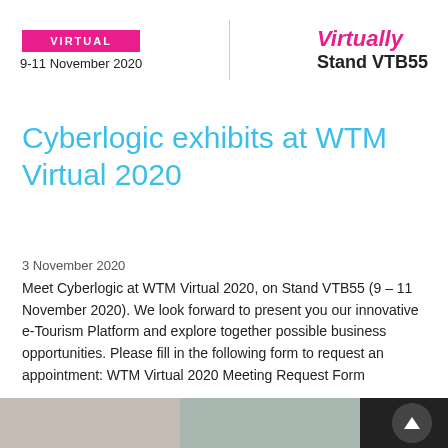[Figure (logo): WTM Virtual badge/logo with pink background and date 9-11 November 2020, alongside 'Virtually Stand VTB55' text]
Cyberlogic exhibits at WTM Virtual 2020
3 November 2020
Meet Cyberlogic at WTM Virtual 2020, on Stand VTB55 (9 – 11 November 2020). We look forward to present you our innovative e-Tourism Platform and explore together possible business opportunities. Please fill in the following form to request an appointment: WTM Virtual 2020 Meeting Request Form
[Figure (photo): Partial thumbnail images visible at bottom of page]